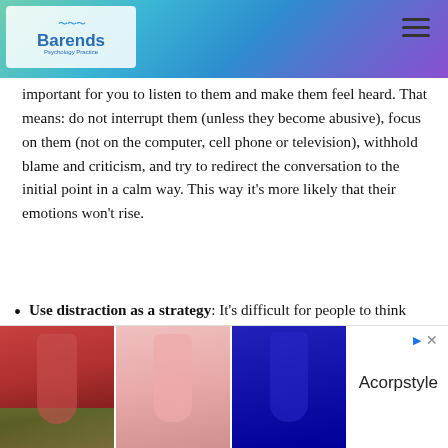Barends Psychology Practice — website header with navigation
important for you to listen to them and make them feel heard. That means: do not interrupt them (unless they become abusive), focus on them (not on the computer, cell phone or television), withhold blame and criticism, and try to redirect the conversation to the initial point in a calm way. This way it's more likely that their emotions won't rise.
Use distraction as a strategy: It's difficult for people to think rationally when they are very emotional. The moment people calm down they can think more clearly. Therefore, it's important to distract someone who is
[Figure (photo): Advertisement banner showing three fashion photos of women in colorful outfits (red jumpsuit, pink shorts set, blue dress), with Acorpstyle brand label]